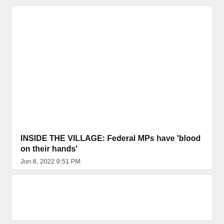[Figure (other): Article card image area (blank/white)]
INSIDE THE VILLAGE: Federal MPs have 'blood on their hands'
Jun 8, 2022 9:51 PM
[Figure (other): Second article card image area (blank/white)]